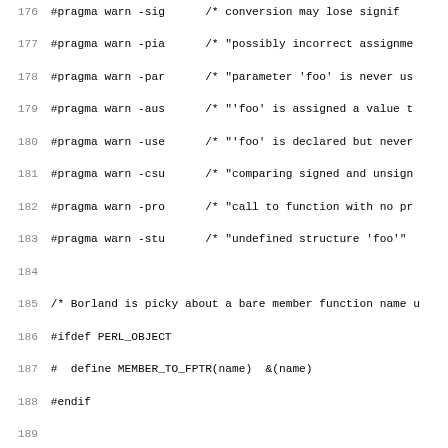[Figure (screenshot): Source code listing (C/C++ header file) with line numbers 176-208, showing #pragma warn directives, preprocessor conditionals for PERL_OBJECT, _MSC_VER, and struct mgvtbl definition with union members.]